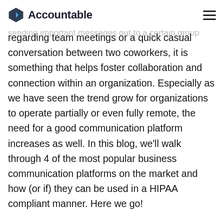Accountable
regarding team meetings or a quick casual conversation between two coworkers, it is something that helps foster collaboration and connection within an organization. Especially as we have seen the trend grow for organizations to operate partially or even fully remote, the need for a good communication platform increases as well. In this blog, we'll walk through 4 of the most popular business communication platforms on the market and how (or if) they can be used in a HIPAA compliant manner. Here we go!
Microsoft Teams
What is Microsoft Teams?
One of the most popular business communication platforms is Microsoft Teams, it is something